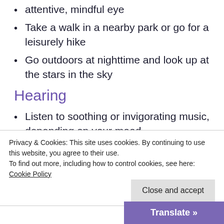attentive, mindful eye
Take a walk in a nearby park or go for a leisurely hike
Go outdoors at nighttime and look up at the stars in the sky
Hearing
Listen to soothing or invigorating music, depending on your mood
Play or learn to play an instrument
Close your eyes and become mindful
Privacy & Cookies: This site uses cookies. By continuing to use this website, you agree to their use.
To find out more, including how to control cookies, see here: Cookie Policy
Close and accept
Translate »
your wrists and breathe d...